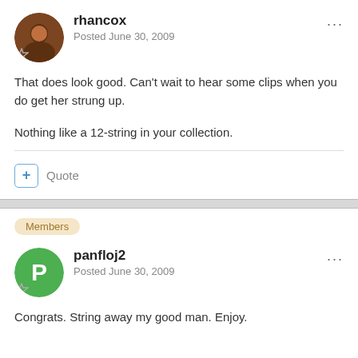rhancox
Posted June 30, 2009
That does look good. Can't wait to hear some clips when you do get her strung up.
Nothing like a 12-string in your collection.
Quote
Members
panfloj2
Posted June 30, 2009
Congrats. String away my good man. Enjoy.